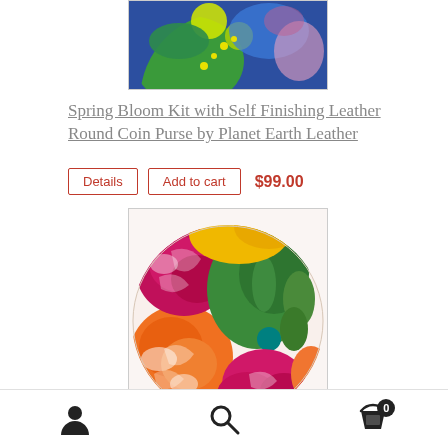[Figure (photo): Partial top view of a circular decorative item with blue, green, and yellow floral pattern, cropped at top of page]
Spring Bloom Kit with Self Finishing Leather Round Coin Purse by Planet Earth Leather
Details  Add to cart  $99.00
[Figure (photo): Circular leather coin purse with painted spring bloom floral design featuring large orange, pink/magenta roses and green leaves on white background]